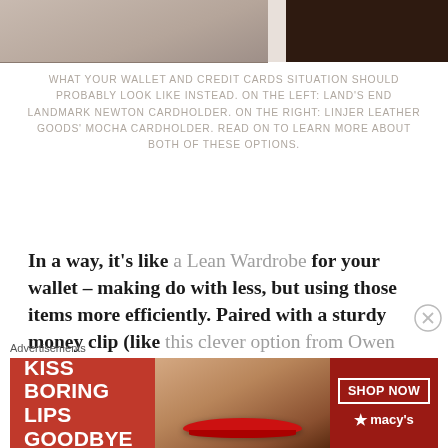[Figure (photo): Two leather cardholders shown side by side: on the left, a lighter brown/tan cardholder (Land's End Landmark Newton Cardholder), and on the right, a dark mocha/espresso cardholder (Linjer Leather Goods' Mocha Cardholder). Both are partially cropped at the top of the image.]
WHAT YOUR WALLET AND CREDIT CARDS SITUATION SHOULD PROBABLY LOOK LIKE INSTEAD. ON THE LEFT: LAND'S END LANDMARK NEWTON CARDHOLDER. ON THE RIGHT: LINJER LEATHER GOODS' MOCHA CARDHOLDER. READ ON TO LEARN MORE ABOUT BOTH OF THESE OPTIONS.
In a way, it’s like a Lean Wardrobe for your wallet – making do with less, but using those items more efficiently. Paired with a sturdy money clip (like this clever option from Owen & Fred) for some cash, it’s a combination that truly does look stylish while also serving a nice function. And luckily, designers and brands big and small are making versions that lean
[Figure (photo): Advertisement banner: 'KISS BORING LIPS GOODBYE' with a woman's face showing red lipstick, and 'SHOP NOW' button with Macy's star logo on a red background.]